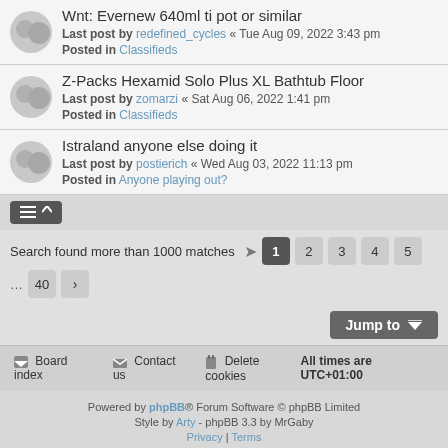Wnt: Evernew 640ml ti pot or similar
Last post by redefined_cycles « Tue Aug 09, 2022 3:43 pm
Posted in Classifieds
Z-Packs Hexamid Solo Plus XL Bathtub Floor
Last post by zomarzi « Sat Aug 06, 2022 1:41 pm
Posted in Classifieds
Istraland anyone else doing it
Last post by postierich « Wed Aug 03, 2022 11:13 pm
Posted in Anyone playing out?
Search found more than 1000 matches
1 2 3 4 5 ... 40 >
Jump to
Board index   Contact us   Delete cookies   All times are UTC+01:00
Powered by phpBB® Forum Software © phpBB Limited
Style by Arty - phpBB 3.3 by MrGaby
Privacy | Terms